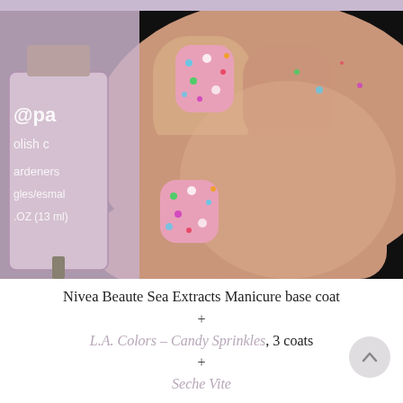[Figure (photo): Close-up photo of a hand holding a LA Colors nail polish bottle, showing pink glitter nails (Candy Sprinkles). The nails are painted pink with colorful glitter confetti pieces. The nail polish bottle label reads 'Crazy Polish' and shows 'ardeners', 'gles/esmal', '.OZ (13ml)'. Dark background.]
Nivea Beaute Sea Extracts Manicure base coat
+
L.A. Colors – Candy Sprinkles, 3 coats
+
Seche Vite